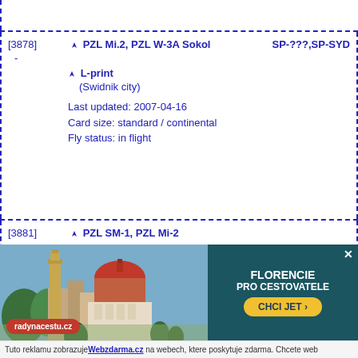[3878] PZL Mi.2, PZL W-3A Sokol SP-???,SP-SYD
- L-print (Swidnik city)
Last updated: 2007-04-16
Card size: standard / continental
Fly status: in flight
[3881] PZL SM-1, PZL Mi-2
- L-print (Swidnik city)
Last updated: 2007-04-16
Card size: standard / continental
[Figure (photo): Advertisement banner: Florence (Florencie) travel ad with photo of Florence cathedral/duomo and text 'FLORENCIE PRO CESTOVATELE' with button 'CHCI JET'. Also shows radynacestu.cz logo.]
Tuto reklamu zobrazuje Webzdarma.cz na webech, ktere poskytuje zdarma. Chcete web